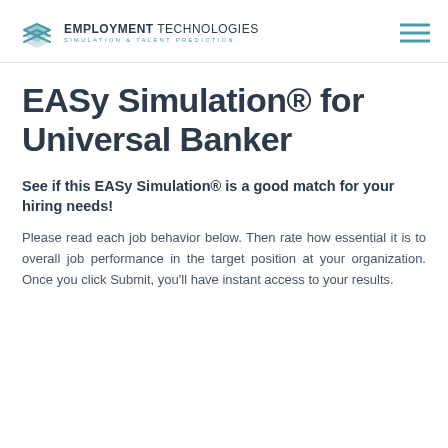EMPLOYMENT TECHNOLOGIES SIMULATION & TALENT PREDICTION
EASy Simulation® for Universal Banker
See if this EASy Simulation® is a good match for your hiring needs!
Please read each job behavior below. Then rate how essential it is to overall job performance in the target position at your organization. Once you click Submit, you'll have instant access to your results.